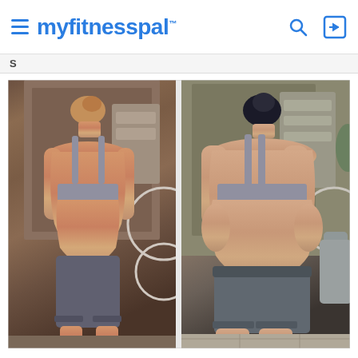myfitnesspal
S
[Figure (photo): Side-by-side back-view comparison photos of two women in gray sports bras and gray shorts. Left photo shows a slimmer woman (after), right photo shows a heavier woman (before). Both are photographed from behind in similar poses.]